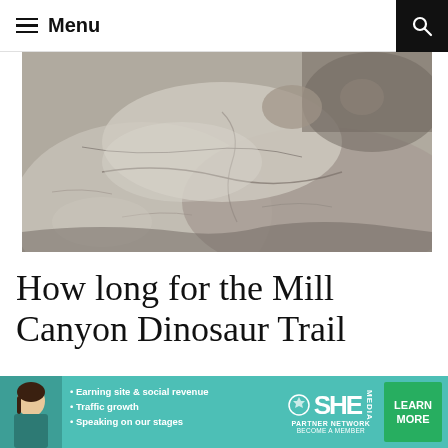≡ Menu
[Figure (photo): Close-up photograph of light grey and tan rock surface showing dinosaur fossil impressions and natural rock formations, taken at Mill Canyon Dinosaur Trail.]
How long for the Mill Canyon Dinosaur Trail
[Figure (infographic): Advertisement banner for SHE Media Partner Network featuring a woman, bullet points: Earning site & social revenue, Traffic growth, Speaking on our stages, SHE partner network logo, BECOME A MEMBER, and a LEARN MORE button.]